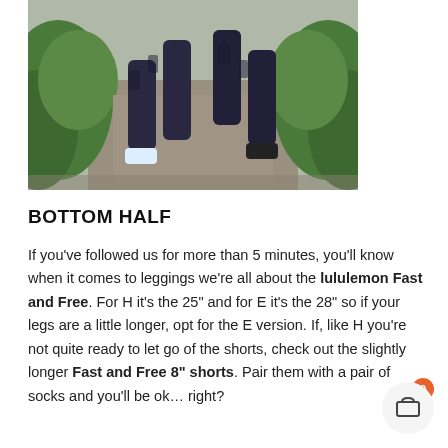[Figure (photo): Two people running on a path outdoors, seen from the waist down, wearing dark patterned leggings and running shoes, surrounded by green bushes.]
BOTTOM HALF
If you've followed us for more than 5 minutes, you'll know when it comes to leggings we're all about the lululemon Fast and Free. For H it's the 25" and for E it's the 28" so if your legs are a little longer, opt for the E version. If, like H you're not quite ready to let go of the shorts, check out the slightly longer Fast and Free 8" shorts. Pair them with a pair of socks and you'll be ok… right?